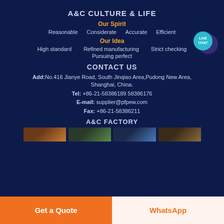A&C CULTURE & LIFE
Our Spirit
Reasonable    Considerate    Accurate    Efficient
Our Idea
High standard    Refined manufacturing    Strict checking
Pursuing perfect
CONTACT US
Add: No.416 Jianye Road, South Jinqiao Area,Pudong New Area, Shanghai, China.
Tel: +86-21-58386189 58386176
E-mail: supplier@pfpew.com
Fax: +86-21-58386211
A&C FACTORY
[Figure (photo): Four factory images shown in a row]
Get a Quote
WhatsApp